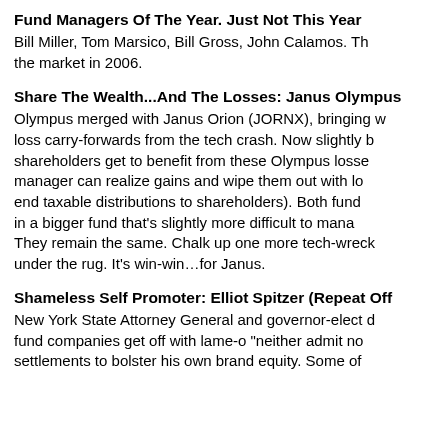Fund Managers Of The Year. Just Not This Year
Bill Miller, Tom Marsico, Bill Gross, John Calamos. Th... the market in 2006.
Share The Wealth...And The Losses: Janus Olympus
Olympus merged with Janus Orion (JORNX), bringing w... loss carry-forwards from the tech crash. Now slightly b... shareholders get to benefit from these Olympus losse... manager can realize gains and wipe them out with lo... end taxable distributions to shareholders). Both fund... in a bigger fund that’s slightly more difficult to mana... They remain the same. Chalk up one more tech-wreck... under the rug. It’s win-win…for Janus.
Shameless Self Promoter: Elliot Spitzer (Repeat Off
New York State Attorney General and governor-elect d... fund companies get off with lame-o “neither admit no... settlements to bolster his own brand equity. Some of